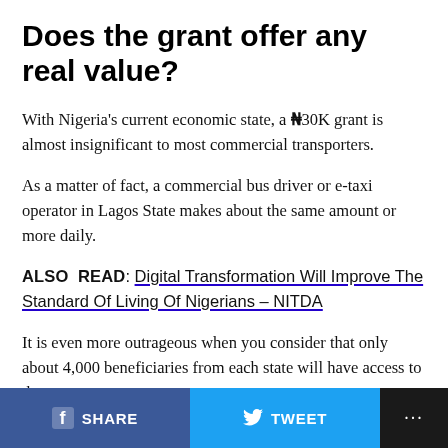Does the grant offer any real value?
With Nigeria's current economic state, a ₦30K grant is almost insignificant to most commercial transporters.
As a matter of fact, a commercial bus driver or e-taxi operator in Lagos State makes about the same amount or more daily.
ALSO  READ: Digital Transformation Will Improve The Standard Of Living Of Nigerians – NITDA
It is even more outrageous when you consider that only about 4,000 beneficiaries from each state will have access to the grant.
f SHARE   TWEET   ...